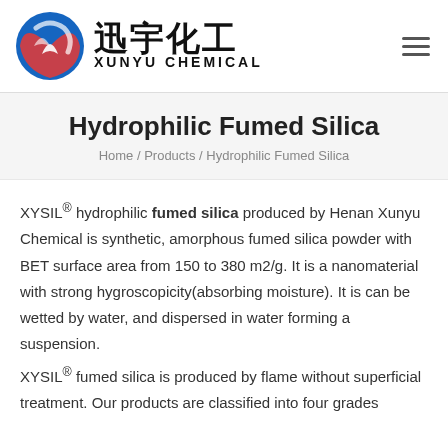[Figure (logo): Xunyu Chemical logo: circular blue and orange emblem with Chinese text 迅宇化工 and English text XUNYU CHEMICAL]
Hydrophilic Fumed Silica
Home / Products / Hydrophilic Fumed Silica
XYSIL® hydrophilic fumed silica produced by Henan Xunyu Chemical is synthetic, amorphous fumed silica powder with BET surface area from 150 to 380 m2/g. It is a nanomaterial with strong hygroscopicity(absorbing moisture). It is can be wetted by water, and dispersed in water forming a suspension.
XYSIL® fumed silica is produced by flame without superficial treatment. Our products are classified into four grades